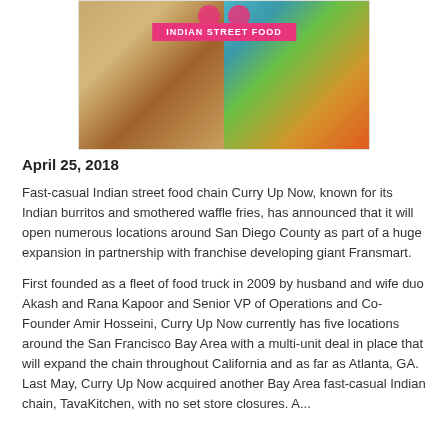[Figure (photo): Photo of Indian street food dishes: left side shows bowls of Indian food (curries, dips), right side shows a colorful Indian street food bowl. A pink banner reads 'INDIAN STREET FOOD' overlaid on the image with decorative circular logos above.]
April 25, 2018
Fast-casual Indian street food chain Curry Up Now, known for its Indian burritos and smothered waffle fries, has announced that it will open numerous locations around San Diego County as part of a huge expansion in partnership with franchise developing giant Fransmart.
First founded as a fleet of food truck in 2009 by husband and wife duo Akash and Rana Kapoor and Senior VP of Operations and Co-Founder Amir Hosseini, Curry Up Now currently has five locations around the San Francisco Bay Area with a multi-unit deal in place that will expand the chain throughout California and as far as Atlanta, GA. Last May, Curry Up Now acquired another Bay Area fast-casual Indian chain, TavaKitchen, with no set store closures. A...